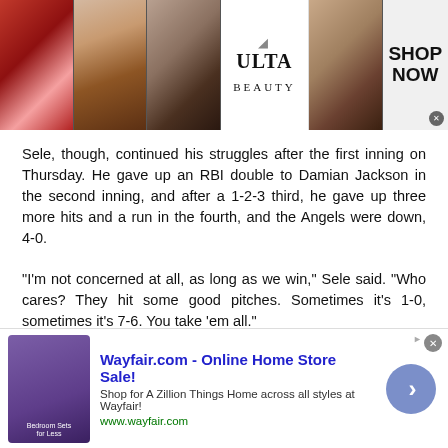[Figure (other): Ulta Beauty advertisement banner showing makeup images (lips, brush, eye), Ulta Beauty logo, and 'SHOP NOW' call to action]
Sele, though, continued his struggles after the first inning on Thursday. He gave up an RBI double to Damian Jackson in the second inning, and after a 1-2-3 third, he gave up three more hits and a run in the fourth, and the Angels were down, 4-0.
"I'm not concerned at all, as long as we win," Sele said. "Who cares? They hit some good pitches. Sometimes it's 1-0, sometimes it's 7-6. You take 'em all."
Sele's ERA is 5.75, but the Angels are averaging 5.86 runs per game in his starts, which would explain his winning record.
"He still hasn't hit stride as to what we're looking for," Scioscia said of Sele. "But he's done one thing well: compete. He settled
[Figure (other): Wayfair.com advertisement banner - Online Home Store Sale! Shop for A Zillion Things Home across all styles at Wayfair! www.wayfair.com]